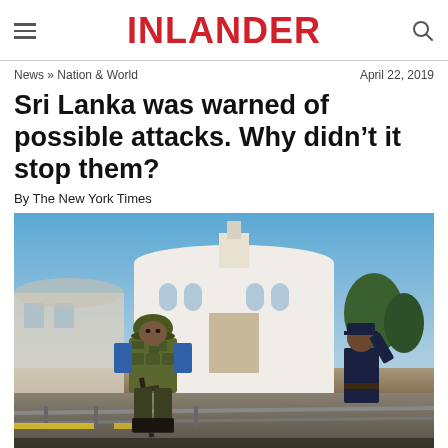INLANDER
News » Nation & World    April 22, 2019
Sri Lanka was warned of possible attacks. Why didn't it stop them?
By The New York Times
[Figure (photo): A soldier in military gear carrying a rifle stands guard in front of a white church (St. Anthony's Shrine), with a police officer in the background, in Sri Lanka following the Easter Sunday bombings.]